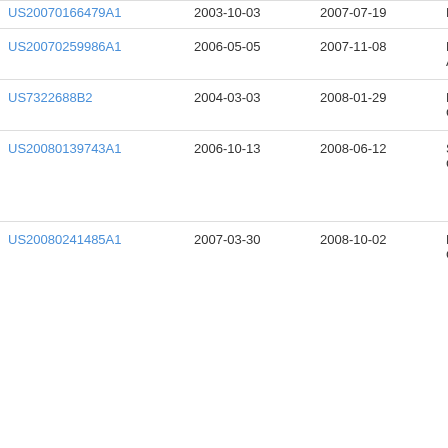| Patent Number | Filing Date | Publication Date | Assignee |
| --- | --- | --- | --- |
| US20070166479A1 | 2003-10-03 | 2007-07-19 | Ro... |
| US20070259986A1 | 2006-05-05 | 2007-11-08 | Elw... A |
| US7322688B2 | 2004-03-03 | 2008-01-29 | Ma... Cor |
| US20080139743A1 | 2006-10-13 | 2008-06-12 | Sur... Cor |
| US20080241485A1 | 2007-03-30 | 2008-10-02 | Fuj... Cor |